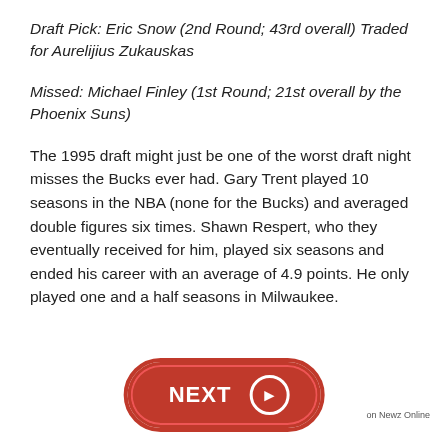Draft Pick: Eric Snow (2nd Round; 43rd overall) Traded for Aurelijius Zukauskas
Missed: Michael Finley (1st Round; 21st overall by the Phoenix Suns)
The 1995 draft might just be one of the worst draft night misses the Bucks ever had. Gary Trent played 10 seasons in the NBA (none for the Bucks) and averaged double figures six times. Shawn Respert, who they eventually received for him, played six seasons and ended his career with an average of 4.9 points. He only played one and a half seasons in Milwaukee.
[Figure (other): Red pill-shaped NEXT button with arrow circle on right side]
on Newz Online